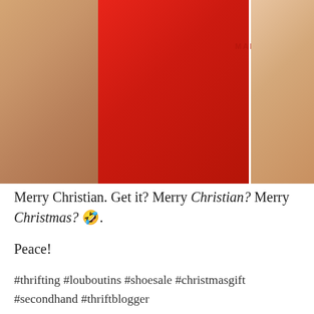[Figure (photo): Close-up photo of a red-soled Christian Louboutin high heel shoe showing the iconic red sole with 'MADE IN ITALY' and size '40' embossed text, being held by a hand against a gray background]
Merry Christian. Get it? Merry Christian? Merry Christmas? 🤣.
Peace!
#thrifting #louboutins #shoesale #christmasgift #secondhand #thriftblogger